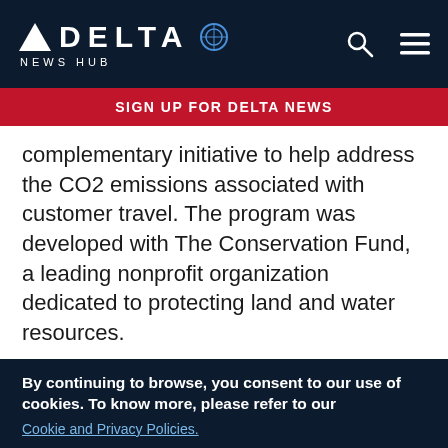DELTA NEWS HUB
SIGN UP FOR DELTA NEWS
complementary initiative to help address the CO2 emissions associated with customer travel. The program was developed with The Conservation Fund, a leading nonprofit organization dedicated to protecting land and water resources.
“There is a vigorous commitment among our customers and our employees to improve our environmental stewardship in all parts of our lives, and we are pleased to offer a program that allows us all to make a difference by getting
By continuing to browse, you consent to our use of cookies. To know more, please refer to our Cookie and Privacy Policies.